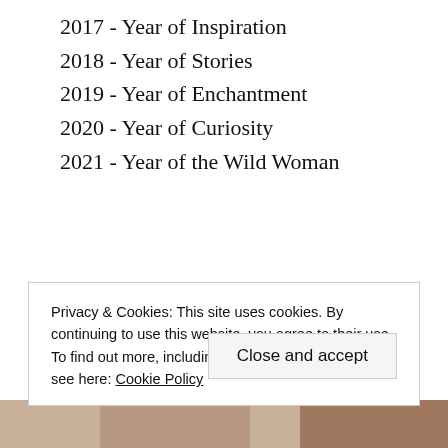2017 - Year of Inspiration
2018 - Year of Stories
2019 - Year of Enchantment
2020 - Year of Curiosity
2021 - Year of the Wild Woman
ABOUT THIS SITE
This is my Year of Adventure. Check in often to discover what I'm learning as I explore new places and new regions in my heart.
Privacy & Cookies: This site uses cookies. By continuing to use this website, you agree to their use.
To find out more, including how to control cookies, see here: Cookie Policy
[Figure (photo): Partial view of a photo at the bottom of the page, showing warm brown/tan tones]